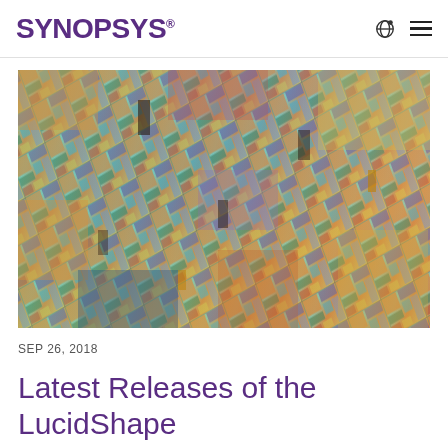SYNOPSYS
[Figure (photo): Close-up photograph of a semiconductor silicon wafer showing colorful integrated circuit dies arranged in a grid pattern with iridescent colors including orange, blue, green, purple, yellow, and brown under polarized light.]
SEP 26, 2018
Latest Releases of the LucidShape